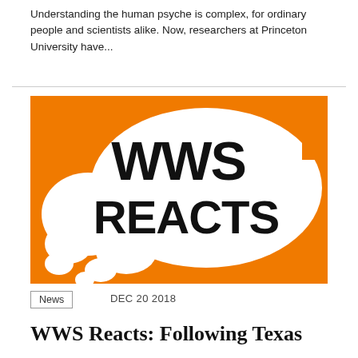Understanding the human psyche is complex, for ordinary people and scientists alike. Now, researchers at Princeton University have...
[Figure (illustration): WWS Reacts logo image: white speech bubbles on an orange background with bold black text reading 'WWS REACTS']
News
DEC 20 2018
WWS Reacts: Following Texas